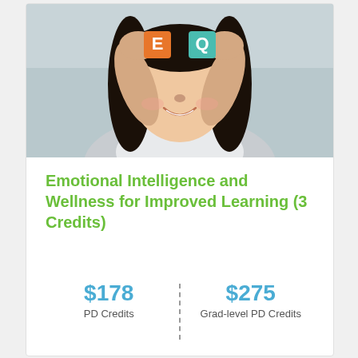[Figure (photo): Young girl holding up orange letter E and green letter Q blocks in front of her eyes, smiling, with dark hair, wearing a light grey top.]
Emotional Intelligence and Wellness for Improved Learning (3 Credits)
$178 PD Credits
$275 Grad-level PD Credits